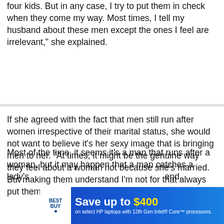four kids. But in any case, I try to put them in check when they come my way. Most times, I tell my husband about these men except the ones I feel are irrelevant," she explained.
If she agreed with the fact that men still run after women irrespective of their marital status, she would not want to believe it's her sexy image that is bringing men to her. "At times, it might be the genuine way they feel about a woman not because she's married. But making them understand I'm not for that always put them in check."
Most of the time, it seems it's a man that runs after a woman, but it may happen that a man catches a lady's attention and they both end.
[Figure (other): Best Buy advertisement banner: Save up to $400 on select HP laptops with 12th Gen Intel Core processors.]